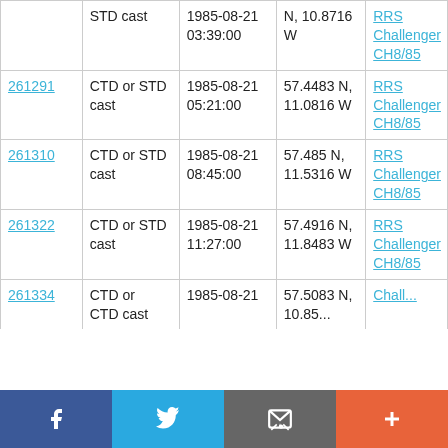| ID | Type | Date/Time | Location | Vessel |
| --- | --- | --- | --- | --- |
|  | STD cast | 1985-08-21 03:39:00 | N, 10.8716 W | RRS Challenger CH8/85 |
| 261291 | CTD or STD cast | 1985-08-21 05:21:00 | 57.4483 N, 11.0816 W | RRS Challenger CH8/85 |
| 261310 | CTD or STD cast | 1985-08-21 08:45:00 | 57.485 N, 11.5316 W | RRS Challenger CH8/85 |
| 261322 | CTD or STD cast | 1985-08-21 11:27:00 | 57.4916 N, 11.8483 W | RRS Challenger CH8/85 |
| 261334 | CTD or STD cast | 1985-08-21 | 57.5083 N, 10.85... | RRS Chall... |